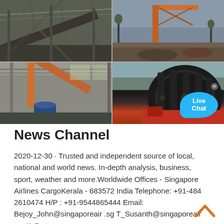[Figure (photo): 4-panel photo grid showing industrial mining/crushing equipment: top-left shows a large industrial building with conveyor belt structure; top-right shows orange crane machinery outdoors; bottom-left shows an orange crane arm inside a warehouse; bottom-right shows a large black industrial wheel or crusher gear with red machinery below.]
News Channel
2020-12-30 · Trusted and independent source of local, national and world news. In-depth analysis, business, sport, weather and more.Worldwide Offices - Singapore Airlines CargoKerala - 683572 India Telephone: +91-484 2610474 H/P : +91-9544865444 Email: Bejoy_John@singaporeair .sg T_Susanth@singaporeair .sg Kolkata